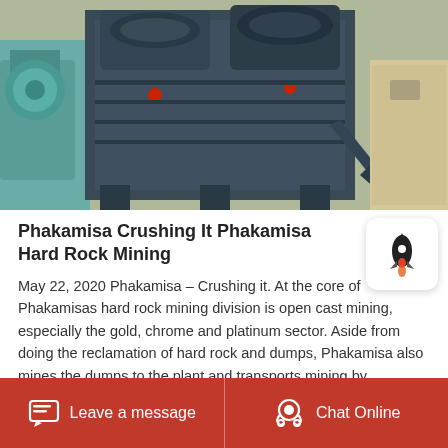[Figure (photo): A large industrial hard rock crushing machine (dark grey/blue roller mill or jaw crusher) sitting on a factory floor. A teal/green machine is visible on the left, and a beige/yellow piece of equipment is on the right background. The floor has a yellow safety line.]
Phakamisa Crushing It Phakamisa Hard Rock Mining
May 22, 2020 Phakamisa – Crushing it. At the core of Phakamisas hard rock mining division is open cast mining, especially the gold, chrome and platinum sector. Aside from doing the reclamation of hard rock and dumps, Phakamisa also mines the dumps to the plant and transports mining by...
Leave a message  Chat Online